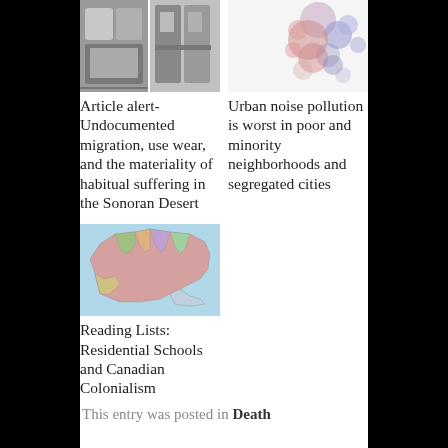[Figure (photo): Two black and white photos side by side showing items related to undocumented migration]
Article alert- Undocumented migration, use wear, and the materiality of habitual suffering in the Sonoran Desert
[Figure (map): Map showing urban noise pollution patterns with red and blue dots indicating poor and minority neighborhoods]
Urban noise pollution is worst in poor and minority neighborhoods and segregated cities
[Figure (map): Colorful map of Canada showing residential school locations and Canadian provinces]
Reading Lists: Residential Schools and Canadian Colonialism
This entry was posted in Death